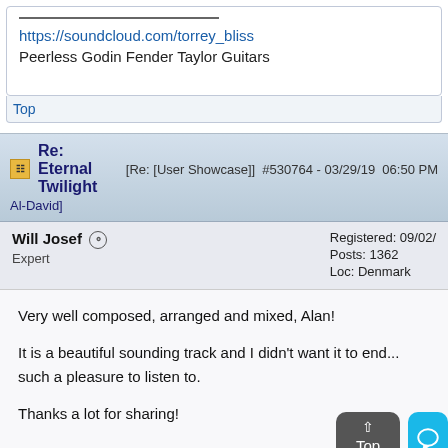https://soundcloud.com/torrey_bliss
Peerless Godin Fender Taylor Guitars
Top
Re: Eternal Twilight [Re: [User Showcase]] #530764 - 03/29/19 06:50 PM Al-David]
Will Josef
Expert
Registered: 09/02/...
Posts: 1362
Loc: Denmark
Very well composed, arranged and mixed, Alan!

It is a beautiful sounding track and I didn't want it to end... such a pleasure to listen to.

Thanks a lot for sharing!